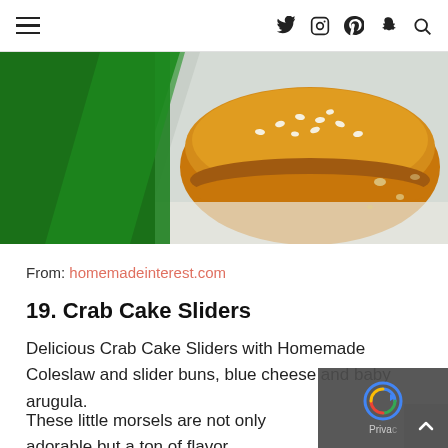Navigation bar with hamburger menu and social icons (Twitter, Instagram, Pinterest, Snapchat, Search)
[Figure (photo): A crab cake slider on a sesame seed bun, placed on white parchment paper with green glitter surface in background]
From: homemadeinterest.com
19. Crab Cake Sliders
Delicious Crab Cake Sliders with Homemade Coleslaw and slider buns, blue cheese and baby arugula.
These little morsels are not only adorable but a ton of flavor.